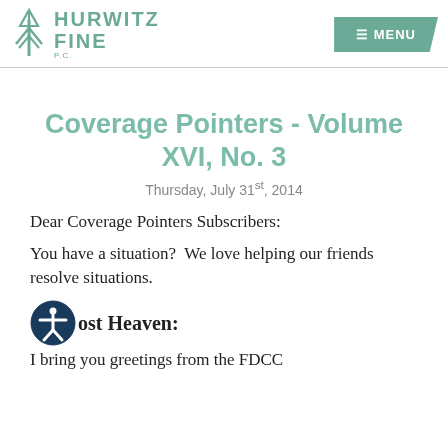Hurwitz Fine P.C. — MENU
Coverage Pointers - Volume XVI, No. 3
Thursday, July 31st, 2014
Dear Coverage Pointers Subscribers:
You have a situation?  We love helping our friends resolve situations.
ost Heaven:
I bring you greetings from the FDCC